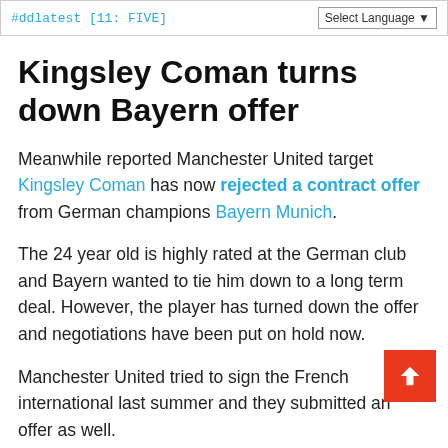#ddlatest [11: FIVE]   Select Language
Kingsley Coman turns down Bayern offer
Meanwhile reported Manchester United target Kingsley Coman has now rejected a contract offer from German champions Bayern Munich.
The 24 year old is highly rated at the German club and Bayern wanted to tie him down to a long term deal. However, the player has turned down the offer and negotiations have been put on hold now.
Manchester United tried to sign the French international last summer and they submitted an offer as well.
It will be interesting to see if Coman's decision to turn down the offer of a new deal at the German club encourages Manchester United to go for the 24 year old once again this